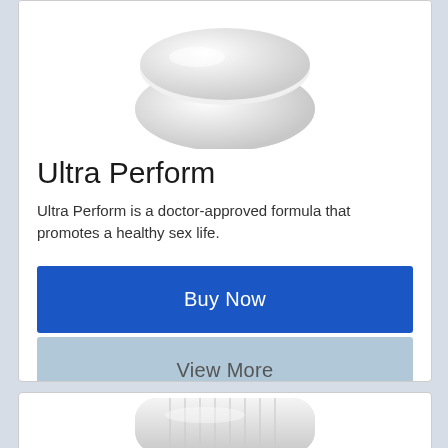[Figure (illustration): White pill/supplement bottle viewed from above, partially cropped at top of card]
Ultra Perform
Ultra Perform is a doctor-approved formula that promotes a healthy sex life.
[Figure (illustration): Blue 'Buy Now' button]
[Figure (illustration): Light blue 'View More' button]
[Figure (illustration): Second white supplement bottle partially visible at bottom of page]